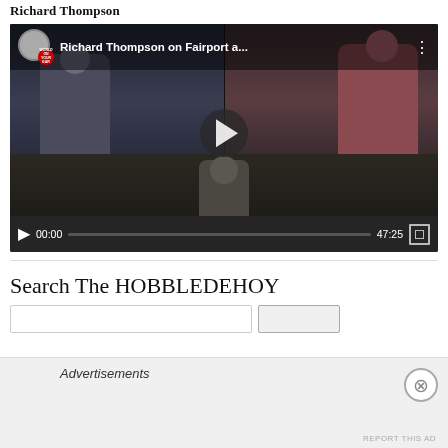Richard Thompson
[Figure (screenshot): YouTube video player showing 'Richard Thompson on Fairport a...' with thumbnail of three people holding books in video call format. Controls show 00:00 / 47:25.]
Search The HOBBLEDEHOY
Search input field and button
Advertisements